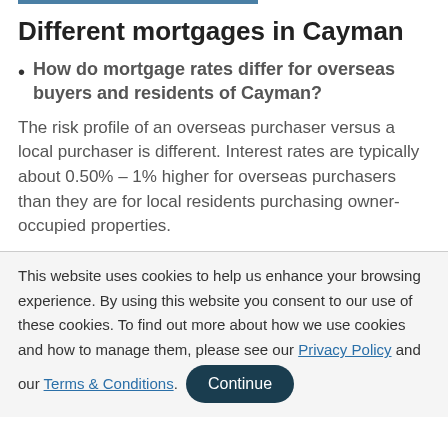Different mortgages in Cayman
How do mortgage rates differ for overseas buyers and residents of Cayman?
The risk profile of an overseas purchaser versus a local purchaser is different. Interest rates are typically about 0.50% – 1% higher for overseas purchasers than they are for local residents purchasing owner-occupied properties.
This website uses cookies to help us enhance your browsing experience. By using this website you consent to our use of these cookies. To find out more about how we use cookies and how to manage them, please see our Privacy Policy and our Terms & Conditions.